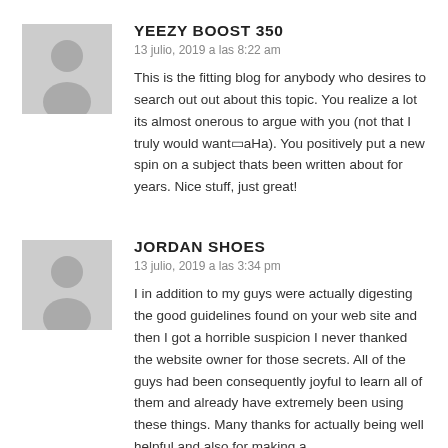YEEZY BOOST 350
13 julio, 2019 a las 8:22 am
This is the fitting blog for anybody who desires to search out out about this topic. You realize a lot its almost onerous to argue with you (not that I truly would want■aHa). You positively put a new spin on a subject thats been written about for years. Nice stuff, just great!
JORDAN SHOES
13 julio, 2019 a las 3:34 pm
I in addition to my guys were actually digesting the good guidelines found on your web site and then I got a horrible suspicion I never thanked the website owner for those secrets. All of the guys had been consequently joyful to learn all of them and already have extremely been using these things. Many thanks for actually being well helpful and also for making a